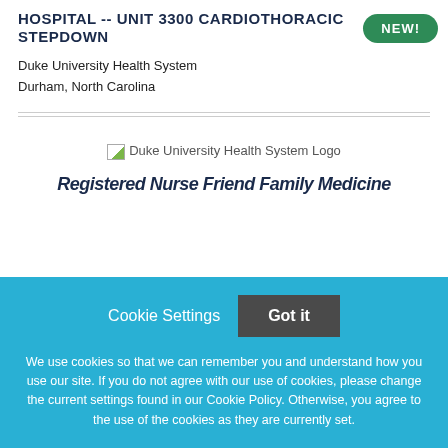HOSPITAL -- UNIT 3300 CARDIOTHORACIC STEPDOWN
Duke University Health System
Durham, North Carolina
[Figure (logo): Duke University Health System Logo]
Cookie Settings   Got it
We use cookies so that we can remember you and understand how you use our site. If you do not agree with our use of cookies, please change the current settings found in our Cookie Policy. Otherwise, you agree to the use of the cookies as they are currently set.